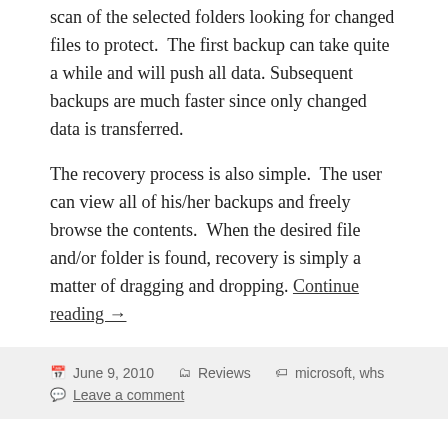scan of the selected folders looking for changed files to protect.  The first backup can take quite a while and will push all data. Subsequent backups are much faster since only changed data is transferred.
The recovery process is also simple.  The user can view all of his/her backups and freely browse the contents.  When the desired file and/or folder is found, recovery is simply a matter of dragging and dropping. Continue reading →
June 9, 2010   Reviews   microsoft, whs   Leave a comment
Windows Home Server Review – Part 2 – Client